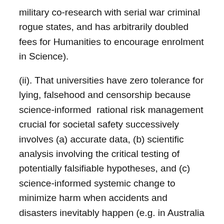military co-research with serial war criminal rogue states, and has arbitrarily doubled fees for Humanities to encourage enrolment in Science).
(ii). That universities have zero tolerance for lying, falsehood and censorship because science-informed rational risk management crucial for societal safety successively involves (a) accurate data, (b) scientific analysis involving the critical testing of potentially falsifiable hypotheses, and (c) science-informed systemic change to minimize harm when accidents and disasters inevitably happen (e.g. in Australia there is massive constraint on academic free speech through government threat, lobbyists for foreign powers notably the